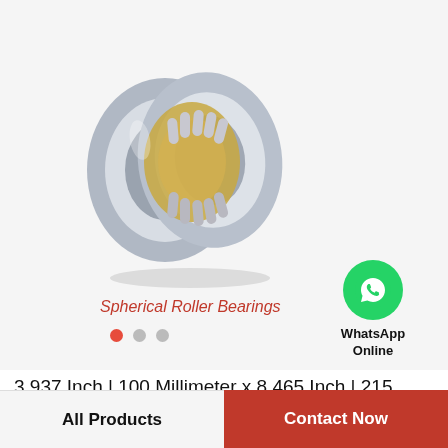[Figure (photo): Spherical roller bearing shown partially disassembled, with outer ring, inner ring, and barrel-shaped rollers with brass cage visible. Silver metallic rings with gold/brass colored cage.]
Spherical Roller Bearings
3.937 Inch | 100 Millimeter x 8.465 Inch | 215 Millimeter x 2.874 Inch | 73 Millimeter TIMK…
All Products
Contact Now